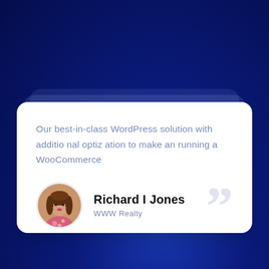Our best-in-class WordPress solution with additio nal optiz ation to make an running a WooCommerce
[Figure (illustration): Circular avatar photo of a woman with long brown wavy hair wearing a floral top]
Richard I Jones
WWW Realty